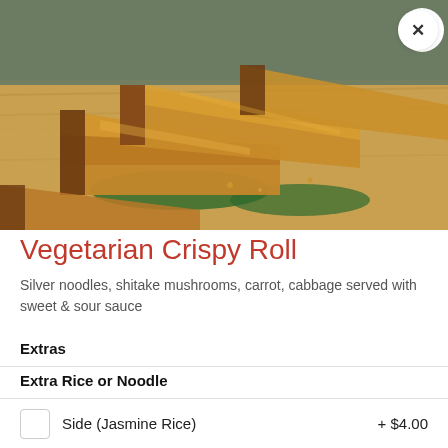[Figure (photo): Crispy golden fried vegetarian spring rolls arranged on a wooden serving board with green leaves, photographed close-up]
Vegetarian Crispy Roll
Silver noodles, shitake mushrooms, carrot, cabbage served with sweet & sour sauce
Extras
Extra Rice or Noodle
Side (Jasmine Rice)  + $4.00